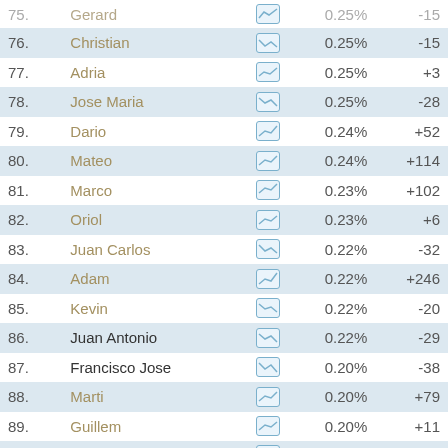| Rank | Name |  | % | Change |
| --- | --- | --- | --- | --- |
| 75. | Gerard |  | 0.25% | -15 |
| 76. | Christian |  | 0.25% | -15 |
| 77. | Adria |  | 0.25% | +3 |
| 78. | Jose Maria |  | 0.25% | -28 |
| 79. | Dario |  | 0.24% | +52 |
| 80. | Mateo |  | 0.24% | +114 |
| 81. | Marco |  | 0.23% | +102 |
| 82. | Oriol |  | 0.23% | +6 |
| 83. | Juan Carlos |  | 0.22% | -32 |
| 84. | Adam |  | 0.22% | +246 |
| 85. | Kevin |  | 0.22% | -20 |
| 86. | Juan Antonio |  | 0.22% | -29 |
| 87. | Francisco Jose |  | 0.20% | -38 |
| 88. | Marti |  | 0.20% | +79 |
| 89. | Guillem |  | 0.20% | +11 |
| 90. | Joaquin |  | 0.20% | -19 |